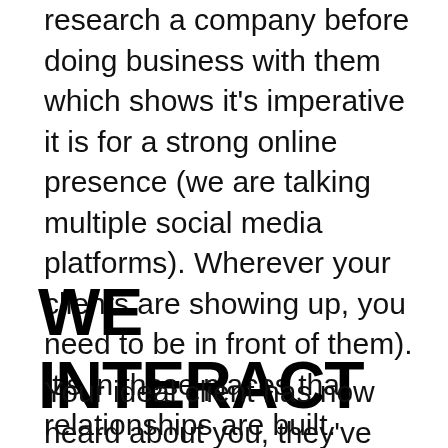research a company before doing business with them which shows it's imperative it is for a strong online presence (we are talking multiple social media platforms). Wherever your clients are showing up, you need to be in front of them). It's in those places that relationships are built. Relationships lead to loyalty and what you are loyal to, you share with others. Social Media Marketing has changed everything, no longer is marketing one sided. Through apps like Twitter, Linked In, TikTok, Instagram and Facebook, connecting with your client is now personal and done via two-sided, direct communication.
WE INTERACT
Your ideal client has now heard about you, they've seen your online presence and now they'll never forget you. We will design your website with your clear message,